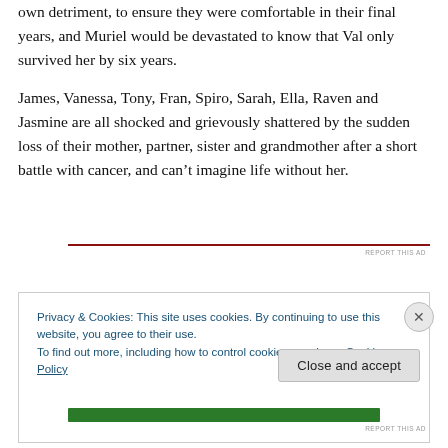own detriment, to ensure they were comfortable in their final years, and Muriel would be devastated to know that Val only survived her by six years.
James, Vanessa, Tony, Fran, Spiro, Sarah, Ella, Raven and Jasmine are all shocked and grievously shattered by the sudden loss of their mother, partner, sister and grandmother after a short battle with cancer, and can't imagine life without her.
Privacy & Cookies: This site uses cookies. By continuing to use this website, you agree to their use.
To find out more, including how to control cookies, see here: Cookie Policy